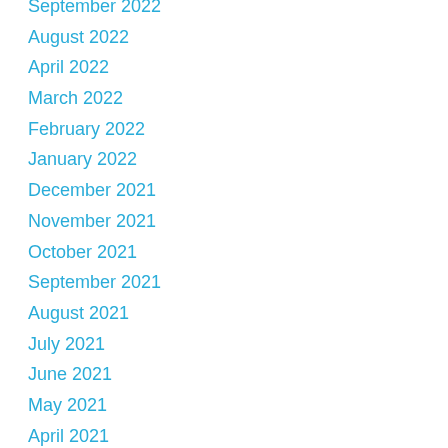September 2022
August 2022
April 2022
March 2022
February 2022
January 2022
December 2021
November 2021
October 2021
September 2021
August 2021
July 2021
June 2021
May 2021
April 2021